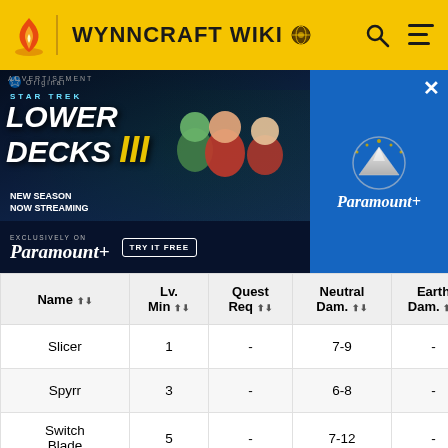WYNNCRAFT WIKI
[Figure (screenshot): Advertisement banner for Star Trek Lower Decks III on Paramount+, showing animated characters and 'NEW SEASON NOW STREAMING' text. Blue background with Paramount+ logo on the right side.]
| Name | Lv. Min | Quest Req | Neutral Dam. | Earth Dam. |
| --- | --- | --- | --- | --- |
| Slicer | 1 | - | 7-9 | - |
| Spyrr | 3 | - | 6-8 | - |
| Switch Blade | 5 | - | 7-12 | - |
| Bolt | 8 | - | 3-10 | - |